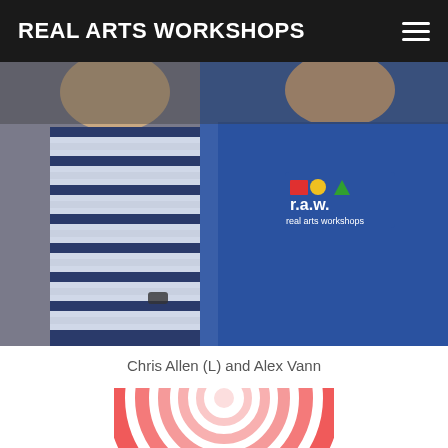REAL ARTS WORKSHOPS
[Figure (photo): Two people posing together: person on left wearing a navy and white striped t-shirt, person on right wearing a blue 'real arts workshops' branded hoodie]
Chris Allen (L) and Alex Vann
[Figure (illustration): Concentric circles target/bullseye graphic in red/pink/white tones, partially visible at bottom of page]